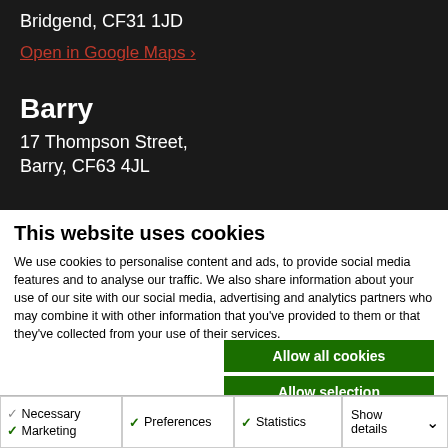Bridgend, CF31 1JD
Open in Google Maps ›
Barry
17 Thompson Street,
Barry, CF63 4JL
This website uses cookies
We use cookies to personalise content and ads, to provide social media features and to analyse our traffic. We also share information about your use of our site with our social media, advertising and analytics partners who may combine it with other information that you've provided to them or that they've collected from your use of their services.
Allow all cookies
Allow selection
Use necessary cookies only
Necessary
Marketing
Preferences
Statistics
Show details